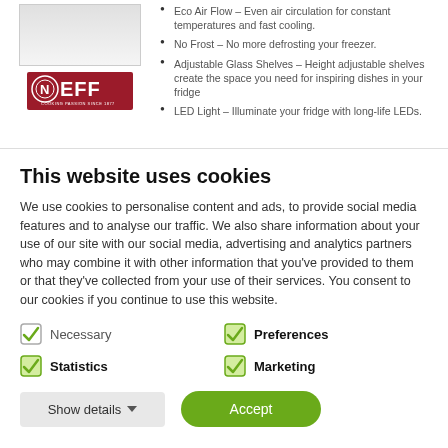[Figure (photo): Product image placeholder (refrigerator) shown in gray/white gradient box]
[Figure (logo): NEFF brand logo — red background with white NEFF lettering and circular emblem]
Eco Air Flow – Even air circulation for constant temperatures and fast cooling.
No Frost – No more defrosting your freezer.
Adjustable Glass Shelves – Height adjustable shelves create the space you need for inspiring dishes in your fridge
LED Light – Illuminate your fridge with long-life LEDs.
This website uses cookies
We use cookies to personalise content and ads, to provide social media features and to analyse our traffic. We also share information about your use of our site with our social media, advertising and analytics partners who may combine it with other information that you've provided to them or that they've collected from your use of their services. You consent to our cookies if you continue to use this website.
Necessary
Preferences
Statistics
Marketing
Show details
Accept